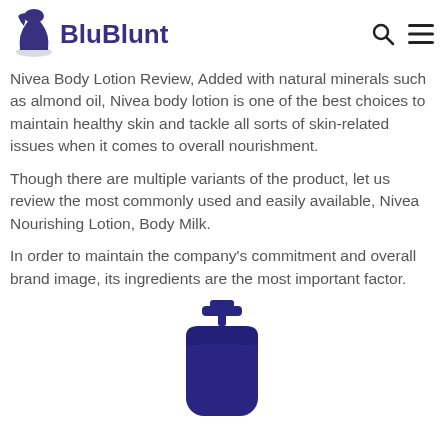BluBlunt
Nivea Body Lotion Review, Added with natural minerals such as almond oil, Nivea body lotion is one of the best choices to maintain healthy skin and tackle all sorts of skin-related issues when it comes to overall nourishment.
Though there are multiple variants of the product, let us review the most commonly used and easily available, Nivea Nourishing Lotion, Body Milk.
In order to maintain the company's commitment and overall brand image, its ingredients are the most important factor.
[Figure (photo): A dark navy blue Nivea pump bottle lotion container, partially visible at bottom of page.]